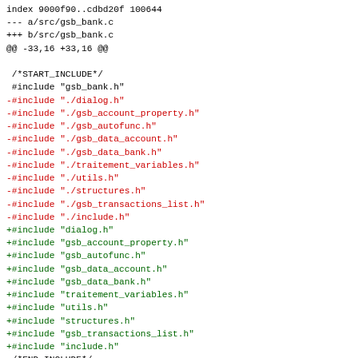index 9000f90..cdbd20f 100644
--- a/src/gsb_bank.c
+++ b/src/gsb_bank.c
@@ -33,16 +33,16 @@

 /*START_INCLUDE*/
 #include "gsb_bank.h"
-#include "./dialog.h"
-#include "./gsb_account_property.h"
-#include "./gsb_autofunc.h"
-#include "./gsb_data_account.h"
-#include "./gsb_data_bank.h"
-#include "./traitement_variables.h"
-#include "./utils.h"
-#include "./structures.h"
-#include "./gsb_transactions_list.h"
-#include "./include.h"
+#include "dialog.h"
+#include "gsb_account_property.h"
+#include "gsb_autofunc.h"
+#include "gsb_data_account.h"
+#include "gsb_data_bank.h"
+#include "traitement_variables.h"
+#include "utils.h"
+#include "structures.h"
+#include "gsb_transactions_list.h"
+#include "include.h"
 /*END_INCLUDE*/

 /*START_STATIC*/
diff --git a/src/gsb_calendar.c b/src/gsb_calendar.c